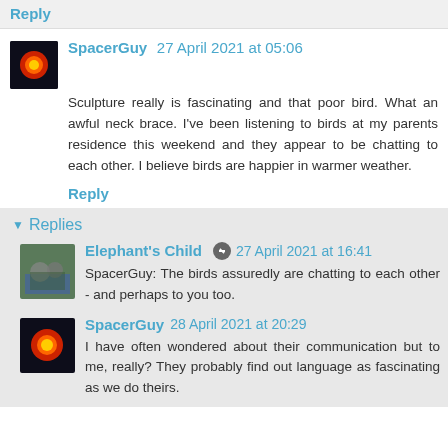Reply
SpacerGuy 27 April 2021 at 05:06
Sculpture really is fascinating and that poor bird. What an awful neck brace. I've been listening to birds at my parents residence this weekend and they appear to be chatting to each other. I believe birds are happier in warmer weather.
Reply
Replies
Elephant's Child 27 April 2021 at 16:41
SpacerGuy: The birds assuredly are chatting to each other - and perhaps to you too.
SpacerGuy 28 April 2021 at 20:29
I have often wondered about their communication but to me, really? They probably find out language as fascinating as we do theirs.